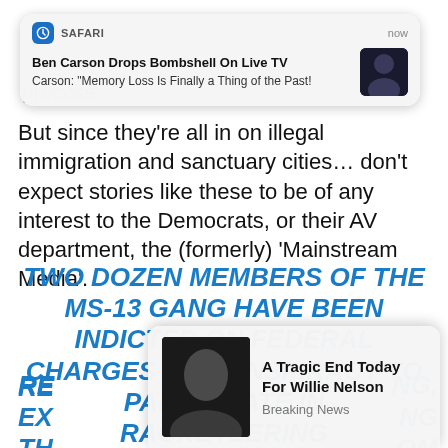[Figure (screenshot): Safari push notification banner at top: 'Ben Carson Drops Bombshell On Live TV' / 'Carson: "Memory Loss Is Finally a Thing of the Past!']
process
But since they’re all in on illegal immigration and sanctuary cities… don’t expect stories like these to be of any interest to the Democrats, or their AV department, the (formerly) ‘Mainstream Media’.
TWO DOZEN MEMBERS OF THE MS-13 GANG HAVE BEEN INDICTED ON FEDERAL CHARGES OF CONSPIRACY TO PARTICIPATE IN RACKETEERING RE...NG, EX...NG TH...OM
[Figure (screenshot): Bottom popup notification: 'A Tragic End Today For Willie Nelson' / 'Breaking News' with photo of elderly man]